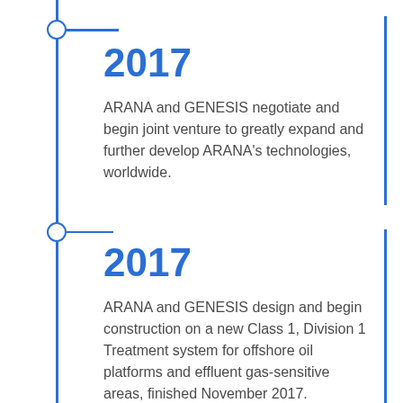[Figure (infographic): Vertical timeline with two 2017 entries. Left side has a vertical blue line with circle nodes and horizontal ticks. Right side has short vertical blue accent lines. Two entries each showing the year 2017 in bold blue and descriptive text.]
2017
ARANA and GENESIS negotiate and begin joint venture to greatly expand and further develop ARANA’s technologies, worldwide.
2017
ARANA and GENESIS design and begin construction on a new Class 1, Division 1 Treatment system for offshore oil platforms and effluent gas-sensitive areas, finished November 2017.